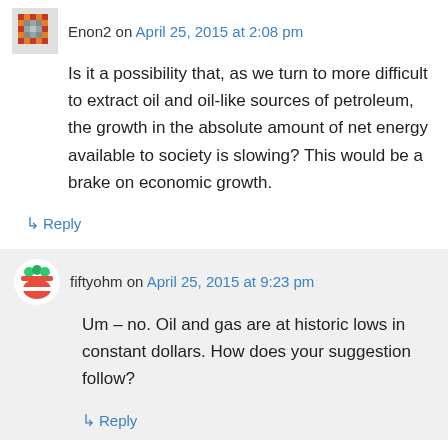Enon2 on April 25, 2015 at 2:08 pm
Is it a possibility that, as we turn to more difficult to extract oil and oil-like sources of petroleum, the growth in the absolute amount of net energy available to society is slowing? This would be a brake on economic growth.
↳ Reply
fiftyohm on April 25, 2015 at 9:23 pm
Um – no. Oil and gas are at historic lows in constant dollars. How does your suggestion follow?
↳ Reply